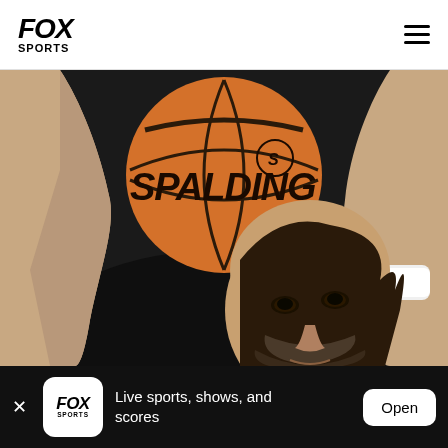FOX SPORTS
[Figure (photo): Close-up photograph of a basketball player holding a Spalding basketball above his head, preparing to shoot. The player has a beard and is looking upward. Dark background. The ball is orange with the Spalding logo visible.]
Live sports, shows, and scores
Open